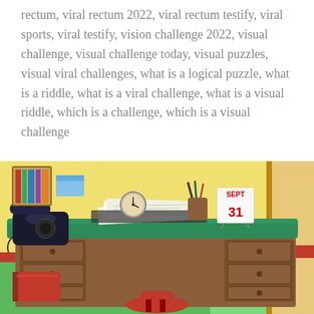rectum, viral rectum 2022, viral rectum testify, viral sports, viral testify, vision challenge 2022, visual challenge, visual challenge today, visual puzzles, visual viral challenges, what is a logical puzzle, what is a riddle, what is a viral challenge, what is a visual riddle, which is a challenge, which is a visual challenge
[Figure (illustration): Cartoon illustration of a wooden office desk with a green top surface. On the desk: a black rotary telephone, an analog clock, papers/documents, a pen holder with pens, and a calendar showing SEPT 31. To the left of the desk is a red book on the floor. Under the desk is visible a red chair. The background shows a yellow wall and green/teal floor.]